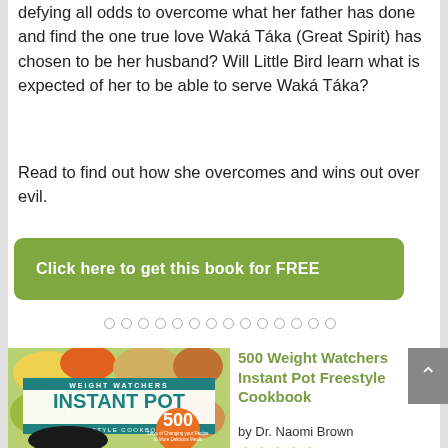defying all odds to overcome what her father has done and find the one true love Waká Táka (Great Spirit) has chosen to be her husband? Will Little Bird learn what is expected of her to be able to serve Waká Táka?
Read to find out how she overcomes and wins out over evil.
Click here to get this book for FREE
[Figure (other): Pagination dots row - 14 hollow circles in a row]
[Figure (photo): Book cover of '500 Weight Watchers Instant Pot Freestyle Cookbook' showing food dishes and an instant pot]
500 Weight Watchers Instant Pot Freestyle Cookbook
by Dr. Naomi Brown
★★★★★ (39 Reviews)